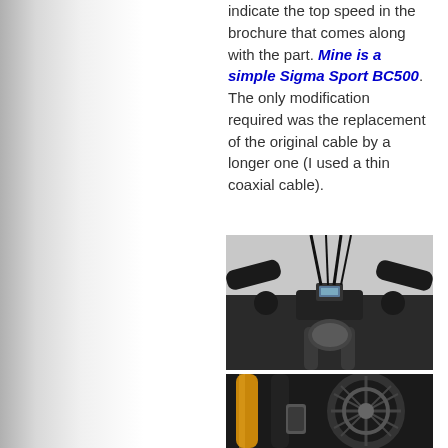indicate the top speed in the brochure that comes along with the part. Mine is a simple Sigma Sport BC500. The only modification required was the replacement of the original cable by a longer one (I used a thin coaxial cable).
[Figure (photo): Motorcycle handlebar area showing a small Sigma Sport BC500 cycle computer mounted centrally between the handlebars, with various cables visible.]
[Figure (photo): Close-up of motorcycle front fork and wheel, showing yellow fork tube, black spoked wheel, and brake components.]